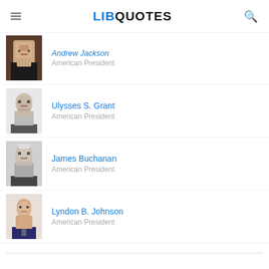LIBQUOTES
Andrew Jackson
American President
Ulysses S. Grant
American President
James Buchanan
American President
Lyndon B. Johnson
American President